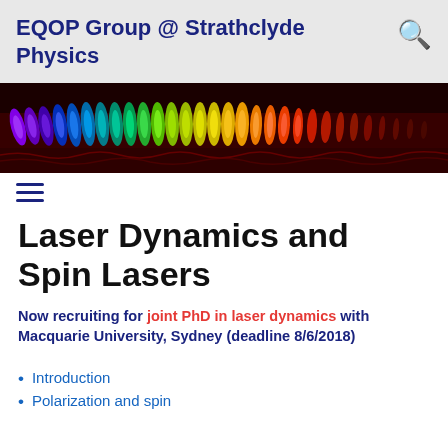EQOP Group @ Strathclyde Physics
[Figure (photo): A scientific false-color image showing a row of laser mode structures or spin wave patterns, colored from red to violet/green/blue against a dark background, spanning the full width of the page.]
Laser Dynamics and Spin Lasers
Now recruiting for joint PhD in laser dynamics with Macquarie University, Sydney (deadline 8/6/2018)
Introduction
Polarization and spin